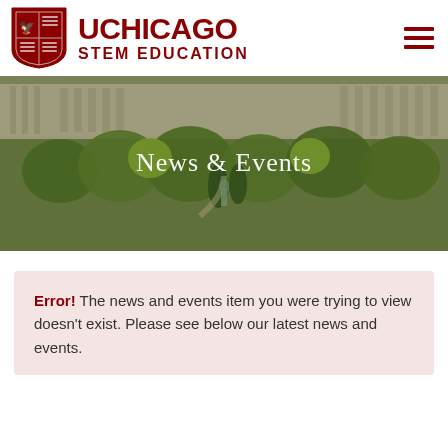[Figure (logo): UChicago STEM Education logo with shield emblem and wordmark in dark red]
[Figure (photo): Aerial view of University of Chicago campus with trees and a statue, overlaid with 'News & Events' text in white serif font]
Error! The news and events item you were trying to view doesn't exist. Please see below our latest news and events.